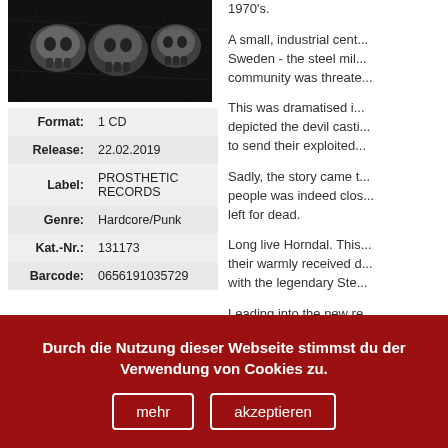[Figure (photo): Black and white album artwork showing skulls]
| Format: | 1 CD |
| Release: | 22.02.2019 |
| Label: | PROSTHETIC RECORDS |
| Genre: | Hardcore/Punk |
| Kat.-Nr.: | 131173 |
| Barcode: | 0656191035729 |
1970's.
A small, industrial cent... Sweden - the steel mil... community was threate...
This was dramatised i... depicted the devil casti... to send their exploited...
Sadly, the story came t... people was indeed clos... left for dead.
Long live Horndal. This... their warmly received d... with the legendary Ste...
Leading into the new re... across Scandinavia wi... Victims, amongst other...
Durch die Nutzung dieser Webseite stimmst du der Verwendung von Cookies zu.